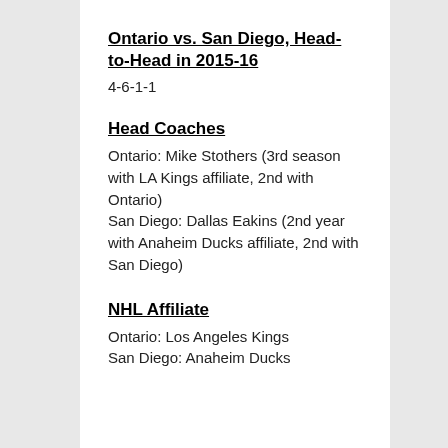Ontario vs. San Diego, Head-to-Head in 2015-16
4-6-1-1
Head Coaches
Ontario: Mike Stothers (3rd season with LA Kings affiliate, 2nd with Ontario)
San Diego: Dallas Eakins (2nd year with Anaheim Ducks affiliate, 2nd with San Diego)
NHL Affiliate
Ontario: Los Angeles Kings
San Diego: Anaheim Ducks